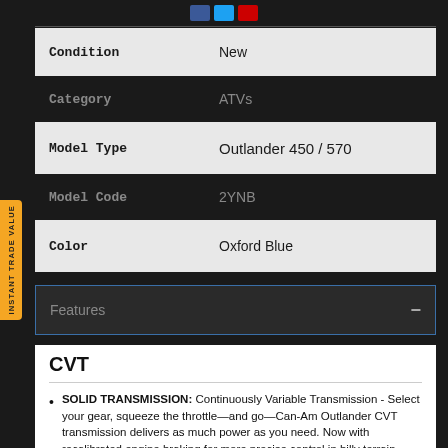| Field | Value |
| --- | --- |
| Condition | New |
| Category | ATVs |
| Model Type | Outlander 450 / 570 |
| Model Code | 2YNB |
| Color | Oxford Blue |
Features
CVT
SOLID TRANSMISSION: Continuously Variable Transmission - Select your gear, squeeze the throttle—and go—Can-Am Outlander CVT transmission delivers as much power as you need. Now with recalibrated engine braking for more precise control in hilly terrain.